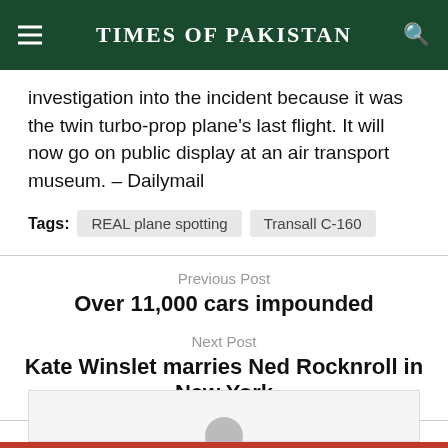TIMES OF PAKISTAN
investigation into the incident because it was the twin turbo-prop plane's last flight. It will now go on public display at an air transport museum. – Dailymail
Tags: REAL plane spotting   Transall C-160
Previous Post
Over 11,000 cars impounded
Next Post
Kate Winslet marries Ned Rocknroll in New York